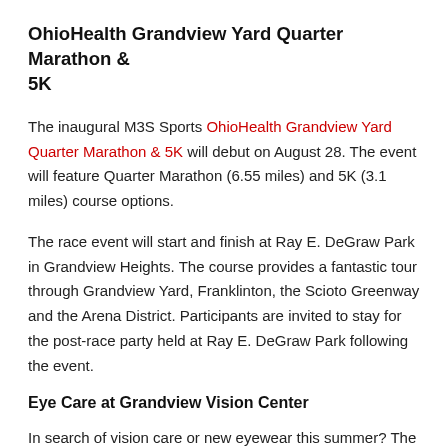OhioHealth Grandview Yard Quarter Marathon & 5K
The inaugural M3S Sports OhioHealth Grandview Yard Quarter Marathon & 5K will debut on August 28. The event will feature Quarter Marathon (6.55 miles) and 5K (3.1 miles) course options.
The race event will start and finish at Ray E. DeGraw Park in Grandview Heights. The course provides a fantastic tour through Grandview Yard, Franklinton, the Scioto Greenway and the Arena District. Participants are invited to stay for the post-race party held at Ray E. DeGraw Park following the event.
Eye Care at Grandview Vision Center
In search of vision care or new eyewear this summer? The Grandview Vision Center specializes in eye exams